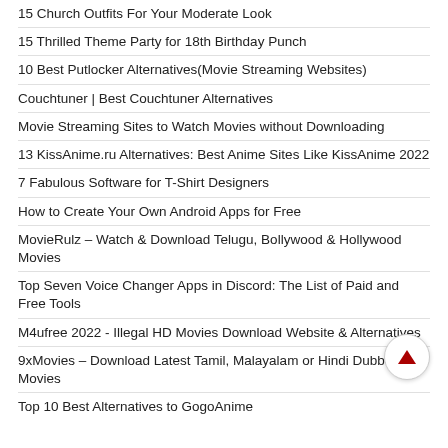15 Church Outfits For Your Moderate Look
15 Thrilled Theme Party for 18th Birthday Punch
10 Best Putlocker Alternatives(Movie Streaming Websites)
Couchtuner | Best Couchtuner Alternatives
Movie Streaming Sites to Watch Movies without Downloading
13 KissAnime.ru Alternatives: Best Anime Sites Like KissAnime 2022
7 Fabulous Software for T-Shirt Designers
How to Create Your Own Android Apps for Free
MovieRulz – Watch & Download Telugu, Bollywood & Hollywood Movies
Top Seven Voice Changer Apps in Discord: The List of Paid and Free Tools
M4ufree 2022 - Illegal HD Movies Download Website & Alternatives
9xMovies – Download Latest Tamil, Malayalam or Hindi Dubbed Movies
Top 10 Best Alternatives to GogoAnime